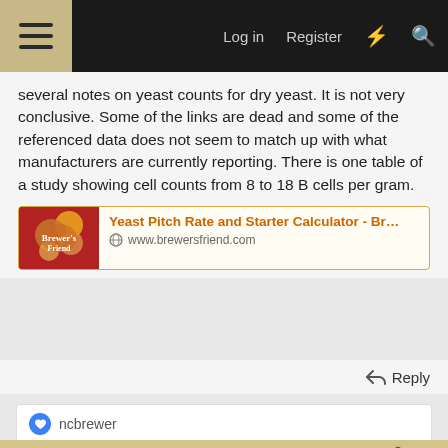☰  Log in  Register  ⚡  🔍
several notes on yeast counts for dry yeast. It is not very conclusive. Some of the links are dead and some of the referenced data does not seem to match up with what manufacturers are currently reporting. There is one table of a study showing cell counts from 8 to 18 B cells per gram.
[Figure (screenshot): Link card preview for 'Yeast Pitch Rate and Starter Calculator - Br...' at www.brewersfriend.com with an image of brewing equipment on the left]
↩ Reply
👍 ncbrewer
Apr 6, 2022  share  #8
[Figure (screenshot): WSJ advertisement banner: 'Report Ad' header, WSJ logo, text 'Become a WSJ Member Today', Open button, close X button]